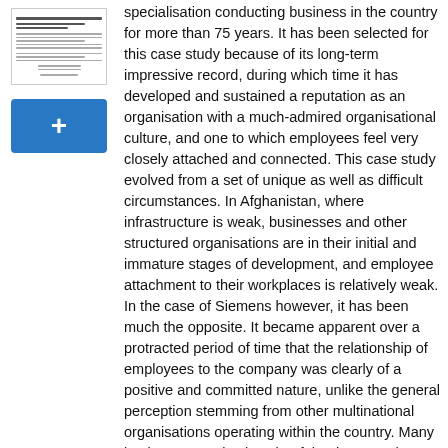[Figure (other): Thumbnail preview of a case study document with small text lines representing document content]
[Figure (other): Blue button with a plus sign (+) used to add or expand content]
specialisation conducting business in the country for more than 75 years. It has been selected for this case study because of its long-term impressive record, during which time it has developed and sustained a reputation as an organisation with a much-admired organisational culture, and one to which employees feel very closely attached and connected. This case study evolved from a set of unique as well as difficult circumstances. In Afghanistan, where infrastructure is weak, businesses and other structured organisations are in their initial and immature stages of development, and employee attachment to their workplaces is relatively weak. In the case of Siemens however, it has been much the opposite. It became apparent over a protracted period of time that the relationship of employees to the company was clearly of a positive and committed nature, unlike the general perception stemming from other multinational organisations operating within the country. Many business organisations in Afghanistan tend to emphasise to a lesser degree some modern-day